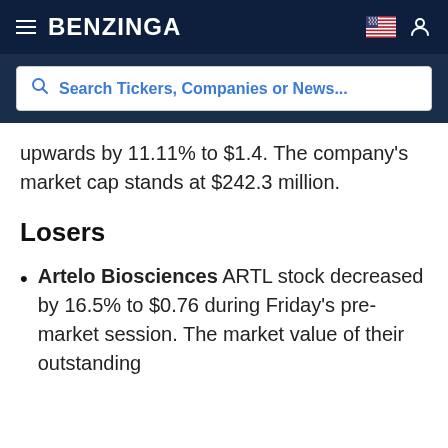BENZINGA
upwards by 11.11% to $1.4. The company's market cap stands at $242.3 million.
Losers
Artelo Biosciences ARTL stock decreased by 16.5% to $0.76 during Friday's pre-market session. The market value of their outstanding